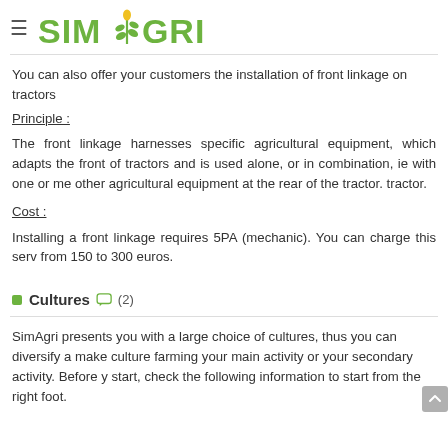≡ SIMAGRI
You can also offer your customers the installation of front linkage on tractors
Principle :
The front linkage harnesses specific agricultural equipment, which adapts the front of tractors and is used alone, or in combination, ie with one or more other agricultural equipment at the rear of the tractor. tractor.
Cost :
Installing a front linkage requires 5PA (mechanic). You can charge this service from 150 to 300 euros.
■ Cultures 💬 (2)
SimAgri presents you with a large choice of cultures, thus you can diversify and make culture farming your main activity or your secondary activity. Before you start, check the following information to start from the right foot.